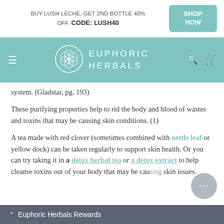BUY LUSH LECHE, GET 2ND BOTTLE 40% OFF. CODE: LUSH40 | SHOP NOW
[Figure (logo): Euphoric Herbals logo with teal navigation bar, hamburger menu, flower-of-life circle icon, search and cart icons]
system. (Gladstar, pg. 193)
These purifying properties help to rid the body and blood of wastes and toxins that may be causing skin conditions. (1)
A tea made with red clover (sometimes combined with nettle leaf or yellow dock) can be taken regularly to support skin health. Or you can try taking it in a detox herbal tea or a detox extract to help cleanse toxins out of your body that may be causing skin issues.
Euphoric Herbals Rewards